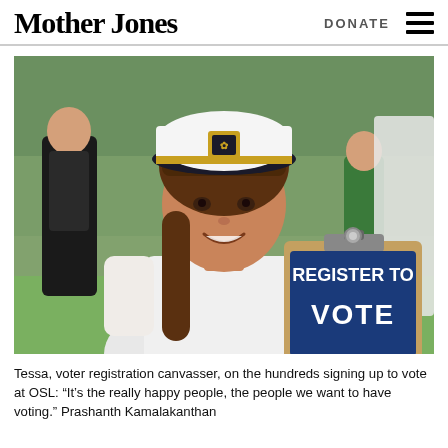Mother Jones | DONATE
[Figure (photo): A smiling young woman wearing a white captain's hat with a gold badge, holding a clipboard sign that reads 'REGISTER TO VOTE'. In the background are other people outdoors on a grass area.]
Tessa, voter registration canvasser, on the hundreds signing up to vote at OSL: “It’s the really happy people, the people we want to have voting.” Prashanth Kamalakanthan